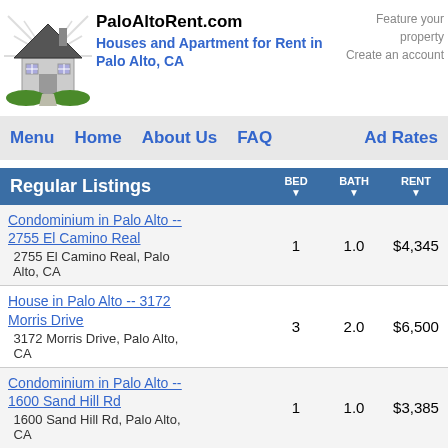[Figure (logo): PaloAltoRent.com house logo with green lawn]
PaloAltoRent.com
Houses and Apartment for Rent in Palo Alto, CA
Feature your property
Create an account
Menu  Home  About Us  FAQ  Ad Rates
| Regular Listings | BED | BATH | RENT |
| --- | --- | --- | --- |
| Condominium in Palo Alto -- 2755 El Camino Real
2755 El Camino Real, Palo Alto, CA | 1 | 1.0 | $4,345 |
| House in Palo Alto -- 3172 Morris Drive
3172 Morris Drive, Palo Alto, CA | 3 | 2.0 | $6,500 |
| Condominium in Palo Alto -- 1600 Sand Hill Rd
1600 Sand Hill Rd, Palo Alto, CA | 1 | 1.0 | $3,385 |
| Condominium in Palo Alto -- 1600 Sand Hill Rd
1600 Sand Hill Rd, Palo Alto, CA | 2 | 1.0 | $4,655 |